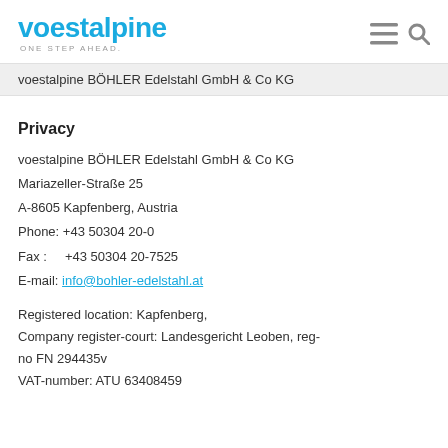voestalpine ONE STEP AHEAD.
voestalpine BÖHLER Edelstahl GmbH & Co KG
Privacy
voestalpine BÖHLER Edelstahl GmbH & Co KG
Mariazeller-Straße 25
A-8605 Kapfenberg, Austria
Phone: +43 50304 20-0
Fax :      +43 50304 20-7525
E-mail: info@bohler-edelstahl.at
Registered location: Kapfenberg,
Company register-court: Landesgericht Leoben, reg-no FN 294435v
VAT-number: ATU 63408459